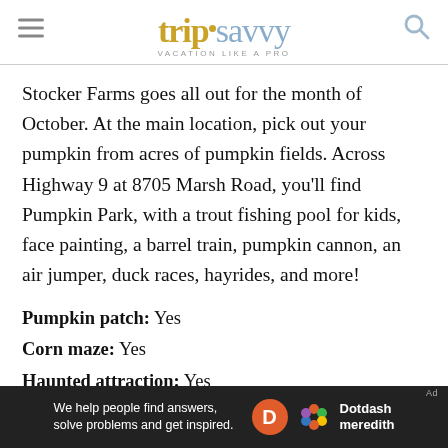tripsavvy VACATION LIKE A PRO
Stocker Farms goes all out for the month of October. At the main location, pick out your pumpkin from acres of pumpkin fields. Across Highway 9 at 8705 Marsh Road, you'll find Pumpkin Park, with a trout fishing pool for kids, face painting, a barrel train, pumpkin cannon, an air jumper, duck races, hayrides, and more!
Pumpkin patch: Yes
Corn maze: Yes
Haunted attraction: Yes
Location: 10622 Airport Way, Snohomish, WA 360-